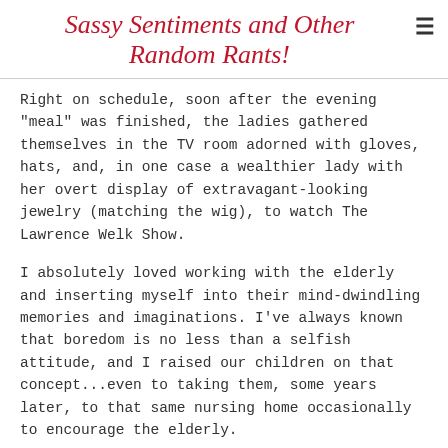Sassy Sentiments and Other Random Rants!
Right on schedule, soon after the evening "meal" was finished, the ladies gathered themselves in the TV room adorned with gloves, hats, and, in one case a wealthier lady with her overt display of extravagant-looking jewelry (matching the wig), to watch The Lawrence Welk Show.
I absolutely loved working with the elderly and inserting myself into their mind-dwindling memories and imaginations. I've always known that boredom is no less than a selfish attitude, and I raised our children on that concept...even to taking them, some years later, to that same nursing home occasionally to encourage the elderly.